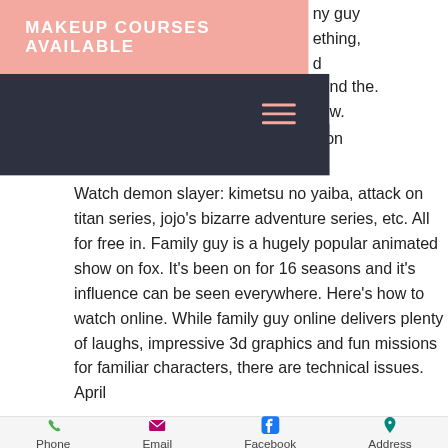MAKEUP COURSES AVAILABLE
ny guy
ething,
d
thing,
ch up
s on
nd the.
w.
[Figure (infographic): Dark navy navigation bar with salmon/pink hamburger menu icon (three horizontal lines)]
Watch demon slayer: kimetsu no yaiba, attack on titan series, jojo's bizarre adventure series, etc. All for free in. Family guy is a hugely popular animated show on fox. It's been on for 16 seasons and it's influence can be seen everywhere. Here's how to watch online. While family guy online delivers plenty of laughs, impressive 3d graphics and fun missions for familiar characters, there are technical issues. April
Phone  Email  Facebook  Address